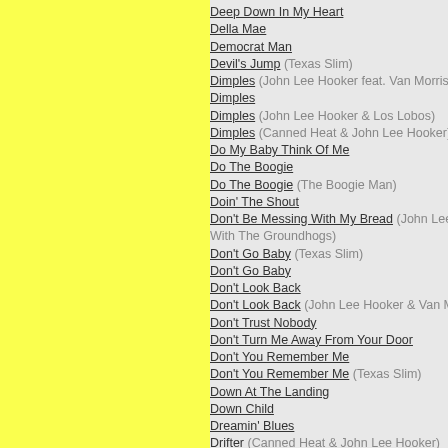[Figure (other): Yellow rectangular panel on the left side of the page]
Deep Down In My Heart
Della Mae
Democrat Man
Devil's Jump (Texas Slim)
Dimples (John Lee Hooker feat. Van Morrison)
Dimples
Dimples (John Lee Hooker & Los Lobos)
Dimples (Canned Heat & John Lee Hooker)
Do My Baby Think Of Me
Do The Boogie
Do The Boogie (The Boogie Man)
Doin' The Shout
Don't Be Messing With My Bread (John Lee Hooker With The Groundhogs)
Don't Go Baby (Texas Slim)
Don't Go Baby
Don't Look Back
Don't Look Back (John Lee Hooker & Van Morrison)
Don't Trust Nobody
Don't Turn Me Away From Your Door
Don't You Remember Me
Don't You Remember Me (Texas Slim)
Down At The Landing
Down Child
Dreamin' Blues
Drifter (Canned Heat & John Lee Hooker)
Driftin' And Driftin'
Driftin' Blues (John Lee Hooker With John Hammond)
Driftin' From Door To Door
Drifting Blues
Drive Me Away
Drug Store Woman
Dust My Broom (Canned Heat & John Lee Hooker)
Dusty Road
Early One Morning
Endless Boogie, Parts 27 And 28
Every Night
Everybody Rockin'